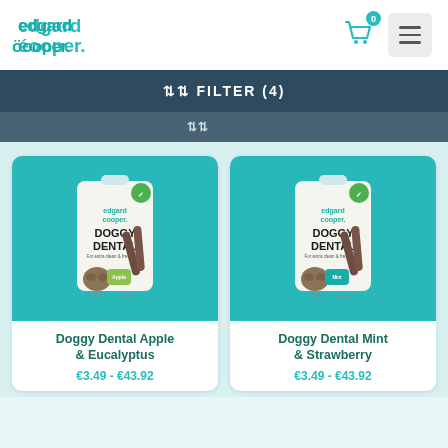Edgard & Cooper
⇅ FILTER (4)
[Figure (photo): Edgard & Cooper Doggy Dental Apple & Eucalyptus product bag on teal background]
Doggy Dental Apple & Eucalyptus
€3.49 - €43.92
[Figure (photo): Edgard & Cooper Doggy Dental Mint & Strawberry product bag on teal background]
Doggy Dental Mint & Strawberry
€3.49 - €43.92